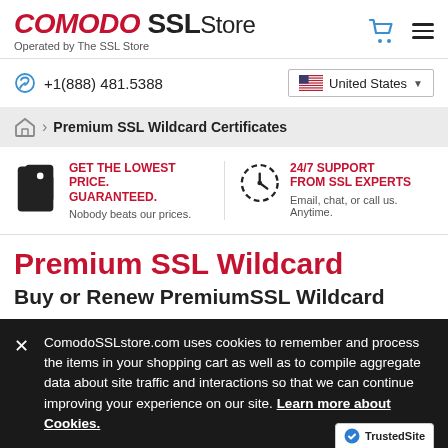COMODO SSL Store — Operated by The SSL Store
+1(888) 481.5388  United States
Premium SSL Wildcard Certificates
GET THE LOWEST PRICE. GUARANTEED. Nobody beats our prices.
24/7 SUPPORT FROM SSL EXPERTS Email, chat, or call us. Anytime.
Premium SSL Wildcard
Buy or Renew PremiumSSL Wildcard Certificate
ComodoSSLstore.com uses cookies to remember and process the items in your shopping cart as well as to compile aggregate data about site traffic and interactions so that we can continue improving your experience on our site. Learn more about Cookies.